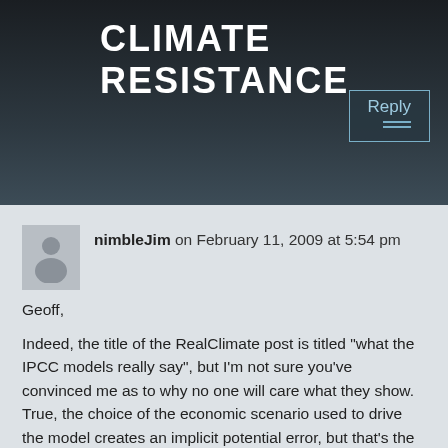CLIMATE RESISTANCE
Reply
nimbleJim on February 11, 2009 at 5:54 pm
Geoff,

Indeed, the title of the RealClimate post is titled "what the IPCC models really say", but I'm not sure you've convinced me as to why no one will care what they show. True, the choice of the economic scenario used to drive the model creates an implicit potential error, but that's the reason why climate modellers develop a range of possible economic scenarios to test in the model. Can you see how a modeller thinks a bit more clearly now? They become familiar with their model,